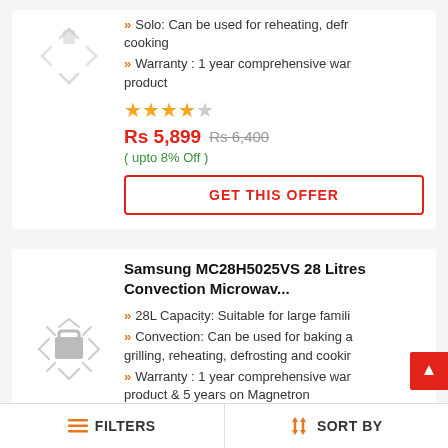Solo: Can be used for reheating, defrosting and cooking
Warranty : 1 year comprehensive warranty on the product
[Figure (other): Star rating: 4 out of 5 stars]
Rs 5,899  Rs 6,400  ( upto 8% Off )
GET THIS OFFER
Samsung MC28H5025VS 28 Litres Convection Microwav...
28L Capacity: Suitable for large families
Convection: Can be used for baking and grilling, reheating, defrosting and cooking
Warranty : 1 year comprehensive warranty on the product & 5 years on Magnetron
FILTERS   SORT BY